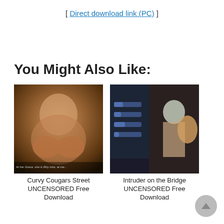[ Direct download link (PC) ]
You Might Also Like:
[Figure (photo): Thumbnail image for Curvy Cougars Street UNCENSORED Free Download]
Curvy Cougars Street UNCENSORED Free Download
[Figure (photo): Thumbnail image for Intruder on the Bridge UNCENSORED Free Download]
Intruder on the Bridge UNCENSORED Free Download